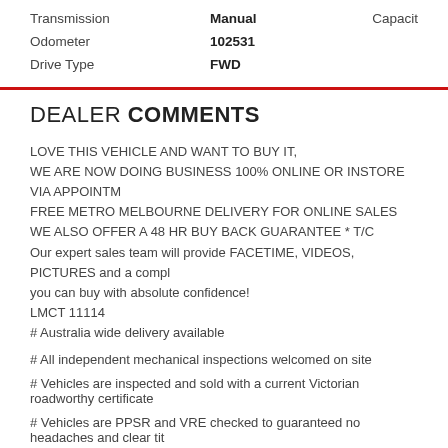| Transmission | Manual | Capacit |
| Odometer | 102531 |  |
| Drive Type | FWD |  |
DEALER COMMENTS
LOVE THIS VEHICLE AND WANT TO BUY IT,
WE ARE NOW DOING BUSINESS 100% ONLINE OR INSTORE VIA APPOINTM
FREE METRO MELBOURNE DELIVERY FOR ONLINE SALES
WE ALSO OFFER A 48 HR BUY BACK GUARANTEE * T/C
Our expert sales team will provide FACETIME, VIDEOS, PICTURES and a compl
you can buy with absolute confidence!
LMCT 11114
# Australia wide delivery available
# All independent mechanical inspections welcomed on site
# Vehicles are inspected and sold with a current Victorian roadworthy certificate
# Vehicles are PPSR and VRE checked to guaranteed no headaches and clear tit
# Online and same day pre approval finance with a best low-rate guarantee.